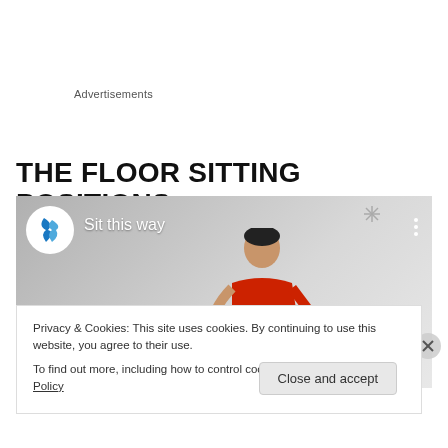Advertisements
THE FLOOR SITTING POSITIONS
[Figure (screenshot): Video thumbnail showing a woman sitting, with a blue bird logo and text 'Sit this way' on a grey background]
Privacy & Cookies: This site uses cookies. By continuing to use this website, you agree to their use.
To find out more, including how to control cookies, see here: Cookie Policy